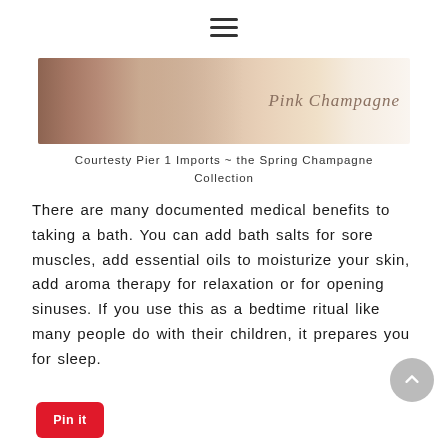[Figure (other): Hamburger menu icon (three horizontal lines)]
[Figure (photo): Pink Champagne banner image showing strawberries and a pink dessert/sorbet on a plate, with script text 'Pink Champagne' on the right side]
Courtesty Pier 1 Imports ~ the Spring Champagne Collection
There are many documented medical benefits to taking a bath. You can add bath salts for sore muscles, add essential oils to moisturize your skin, add aroma therapy for relaxation or for opening sinuses. If you use this as a bedtime ritual like many people do with their children, it prepares you for sleep.
[Figure (other): Back to top circular arrow button (gray circle with upward chevron)]
[Figure (other): Red Pinterest 'Pin it' button]